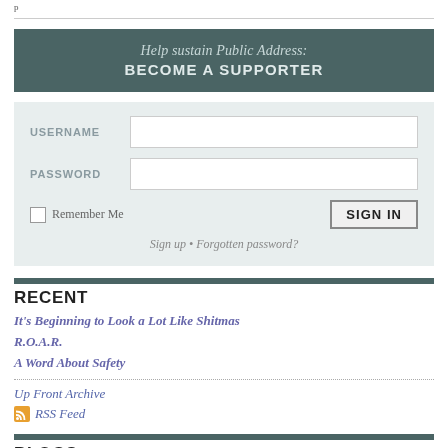p
[Figure (other): Login/supporter sidebar widget with teal banner reading 'Help sustain Public Address: BECOME A SUPPORTER', login form with USERNAME and PASSWORD fields, Remember Me checkbox, SIGN IN button, and Sign up / Forgotten password links]
RECENT
It's Beginning to Look a Lot Like Shitmas
R.O.A.R.
A Word About Safety
Up Front Archive
RSS Feed
BLOGS